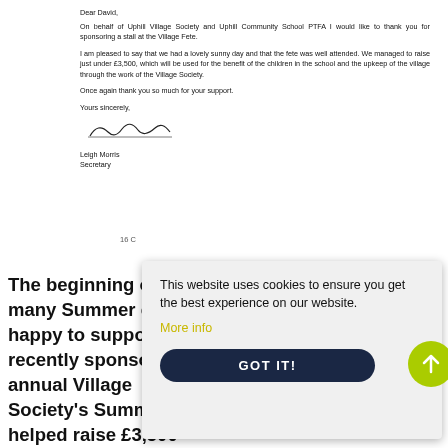Dear David,
On behalf of Uphill Village Society and Uphill Community School PTFA I would like to thank you for sponsoring a stall at the Village Fete.
I am pleased to say that we had a lovely sunny day and that the fete was well attended. We managed to raise just under £3,500, which will be used for the benefit of the children in the school and the upkeep of the village through the work of the Village Society.
Once again thank you so much for your support.
Yours sincerely,
[Figure (other): Handwritten signature of Leigh Morris]
Leigh Morris
Secretary
16 C
The beginning o many Summer e happy to suppo recently sponsored a stall at the annual Village Society's Summer Fete which helped raise £3,500
This website uses cookies to ensure you get the best experience on our website. More info GOT IT!